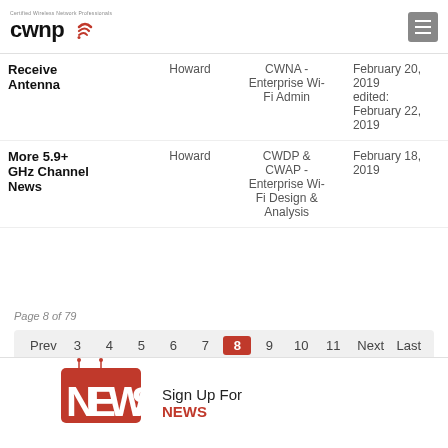CWNP - Certified Wireless Network Professionals
| Title | Author | Category | Date |
| --- | --- | --- | --- |
| Receive Antenna | Howard | CWNA - Enterprise Wi-Fi Admin | February 20, 2019 edited: February 22, 2019 |
| More 5.9+ GHz Channel News | Howard | CWDP & CWAP - Enterprise Wi-Fi Design & Analysis | February 18, 2019 |
Page 8 of 79
Prev 3 4 5 6 7 8 9 10 11 Next Last
[Figure (logo): NEWS logo - red block letters with white cutouts]
Sign Up For NEWS